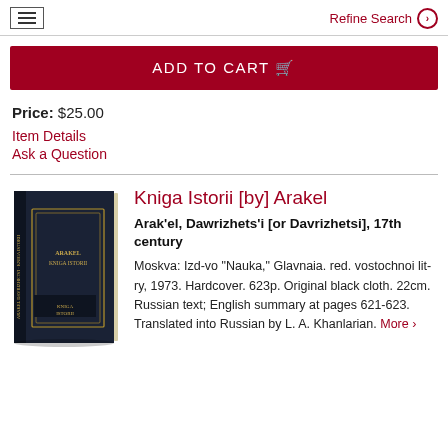≡  Refine Search ›
ADD TO CART 🛒
Price: $25.00
Item Details
Ask a Question
Kniga Istorii [by] Arakel
Arak'el, Dawrizhets'i [or Davrizhetsi], 17th century
Moskva: Izd-vo "Nauka," Glavnaia. red. vostochnoi lit-ry, 1973. Hardcover. 623p. Original black cloth. 22cm. Russian text; English summary at pages 621-623. Translated into Russian by L. A. Khanlarian. More ›
[Figure (photo): Photo of a dark navy/black hardcover book with gold lettering on the spine, standing upright at an angle.]